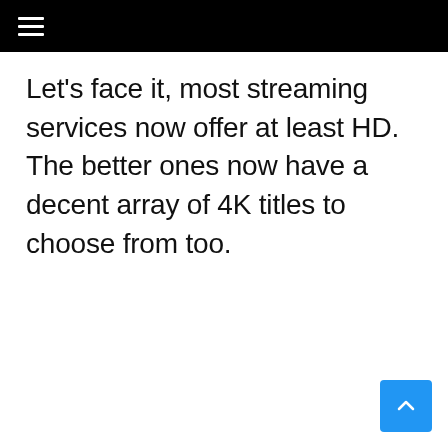≡
Let's face it, most streaming services now offer at least HD. The better ones now have a decent array of 4K titles to choose from too.